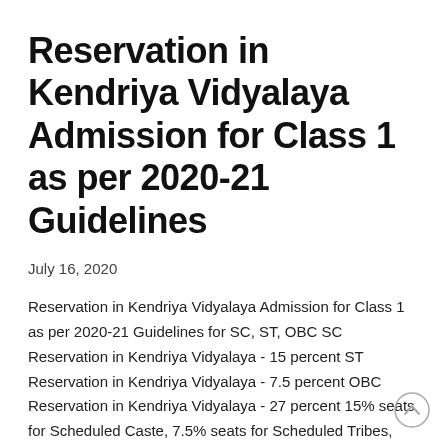Reservation in Kendriya Vidyalaya Admission for Class 1 as per 2020-21 Guidelines
July 16, 2020
Reservation in Kendriya Vidyalaya Admission for Class 1 as per 2020-21 Guidelines for SC, ST, OBC SC Reservation in Kendriya Vidyalaya - 15 percent ST Reservation in Kendriya Vidyalaya - 7.5 percent OBC Reservation in Kendriya Vidyalaya - 27 percent 15% seats for Scheduled Caste, 7.5% seats for Scheduled Tribes, and 27% seats for Other … [Read more...]